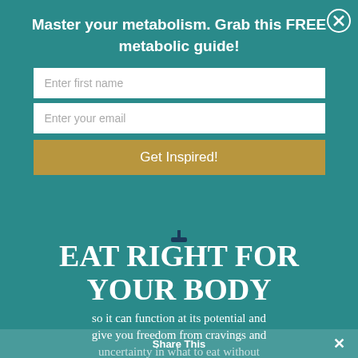Master your metabolism. Grab this FREE metabolic guide!
Enter first name
Enter your email
Get Inspired!
[Figure (illustration): Balance scale icon in dark teal color]
EAT RIGHT FOR YOUR BODY
so it can function at its potential and give you freedom from cravings and uncertainty in what to eat without following a restrictive diet or a...
Share This